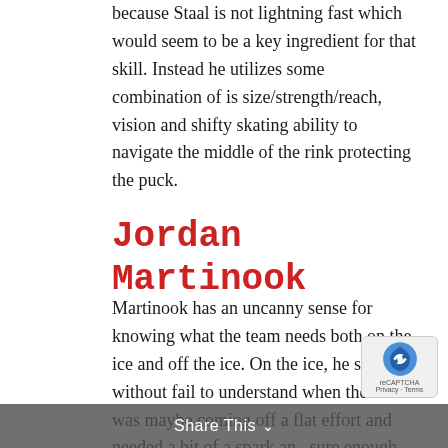because Staal is not lightning fast which would seem to be a key ingredient for that skill. Instead he utilizes some combination of is size/strength/reach, vision and shifty skating ability to navigate the middle of the rink protecting the puck.
Jordan Martinook
Martinook has an uncanny sense for knowing what the team needs both on the ice and off the ice. On the ice, he seemed without fail to understand when the team was maybe coming off a flat effort and needed a bit of a spark and sure enough Martinook was always physical and dialed up early in these games to help get